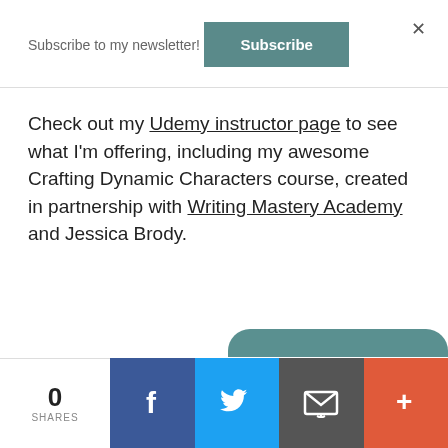Subscribe to my newsletter!
[Figure (screenshot): Subscribe button - teal/slate colored rectangular button with white bold text 'Subscribe']
Check out my Udemy instructor page to see what I'm offering, including my awesome Crafting Dynamic Characters course, created in partnership with Writing Mastery Academy and Jessica Brody.
0 SHARES | Facebook share | Twitter share | Email share | More